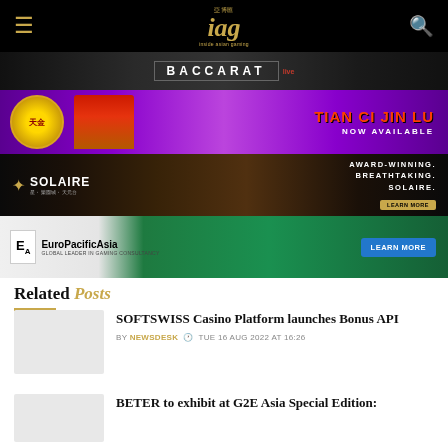IAG (Asia Gaming Brief) website header with hamburger menu, IAG logo, and search icon
[Figure (screenshot): Baccarat advertisement banner — dark background with BACCARAT text]
[Figure (screenshot): Tian Ci Jin Lu — Now Available advertisement banner with purple/pink background and Chinese decorative elements]
[Figure (screenshot): Solaire Resort and Casino advertisement — Award-Winning. Breathtaking. Solaire. — dark background with golden architecture]
[Figure (screenshot): EuroPacificAsia advertisement — Global Leader in Gaming Consultancy — with roulette wheel and LEARN MORE button]
Related Posts
SOFTSWISS Casino Platform launches Bonus API
BY NEWSDESK  TUE 16 AUG 2022 AT 16:26
BETER to exhibit at G2E Asia Special Edition: